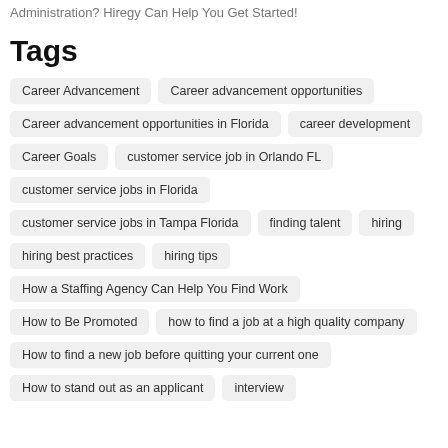Administration? Hiregy Can Help You Get Started!
Tags
Career Advancement
Career advancement opportunities
Career advancement opportunities in Florida
career development
Career Goals
customer service job in Orlando FL
customer service jobs in Florida
customer service jobs in Tampa Florida
finding talent
hiring
hiring best practices
hiring tips
How a Staffing Agency Can Help You Find Work
How to Be Promoted
how to find a job at a high quality company
How to find a new job before quitting your current one
How to stand out as an applicant
interview